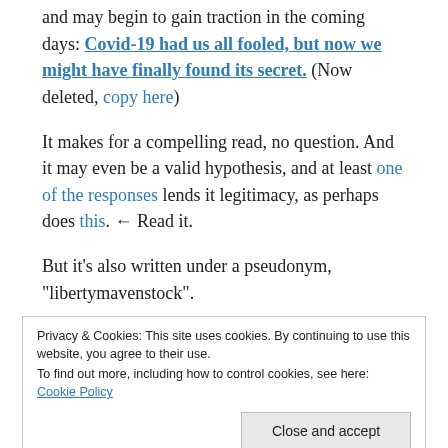and may begin to gain traction in the coming days: Covid-19 had us all fooled, but now we might have finally found its secret. (Now deleted, copy here)
It makes for a compelling read, no question. And it may even be a valid hypothesis, and at least one of the responses lends it legitimacy, as perhaps does this. ← Read it.
But it's also written under a pseudonym, "libertymavenstock".
Privacy & Cookies: This site uses cookies. By continuing to use this website, you agree to their use. To find out more, including how to control cookies, see here: Cookie Policy
up in your travels. (Update: He is likely the son of a